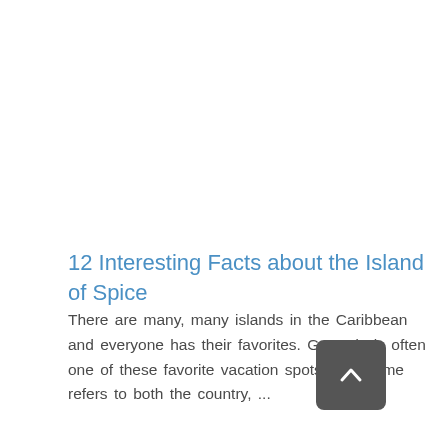12 Interesting Facts about the Island of Spice
There are many, many islands in the Caribbean and everyone has their favorites. Grenada is often one of these favorite vacation spots. The name refers to both the country, ...